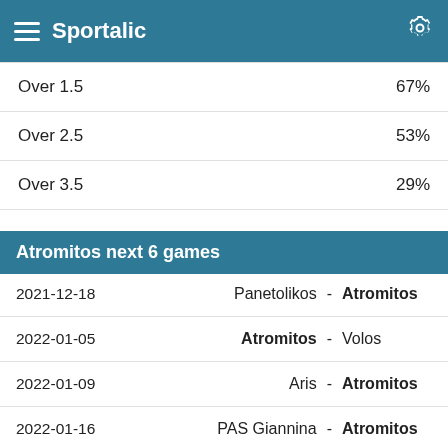Sportalic
| Type | Value |
| --- | --- |
| Over 1.5 | 67% |
| Over 2.5 | 53% |
| Over 3.5 | 29% |
Atromitos next 6 games
| Date | Home |  | Away |
| --- | --- | --- | --- |
| 2021-12-18 | Panetolikos | - | Atromitos |
| 2022-01-05 | Atromitos | - | Volos |
| 2022-01-09 | Aris | - | Atromitos |
| 2022-01-16 | PAS Giannina | - | Atromitos |
| 2022-01-23 | Atromitos | - | AEK Athens |